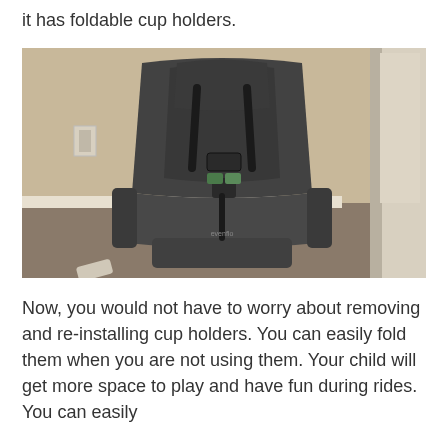it has foldable cup holders.
[Figure (photo): A dark gray child car seat with harness straps and buckle, shown on a carpeted floor against a wall with a white door frame visible on the right.]
Now, you would not have to worry about removing and re-installing cup holders. You can easily fold them when you are not using them. Your child will get more space to play and have fun during rides. You can easily